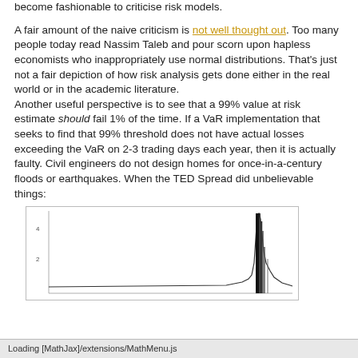become fashionable to criticise risk models.
A fair amount of the naive criticism is not well thought out. Too many people today read Nassim Taleb and pour scorn upon hapless economists who inappropriately use normal distributions. That's just not a fair depiction of how risk analysis gets done either in the real world or in the academic literature. Another useful perspective is to see that a 99% value at risk estimate should fail 1% of the time. If a VaR implementation that seeks to find that 99% threshold does not have actual losses exceeding the VaR on 2-3 trading days each year, then it is actually faulty. Civil engineers do not design homes for once-in-a-century floods or earthquakes. When the TED Spread did unbelievable things:
[Figure (continuous-plot): A time-series chart partially visible, showing a spike (the TED Spread doing unbelievable things). The chart appears to be a line or bar chart with a dramatic spike visible near the right side. Y-axis has labels partially visible.]
Loading [MathJax]/extensions/MathMenu.js